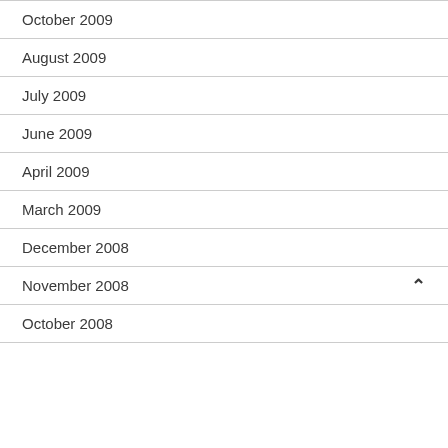October 2009
August 2009
July 2009
June 2009
April 2009
March 2009
December 2008
November 2008
October 2008